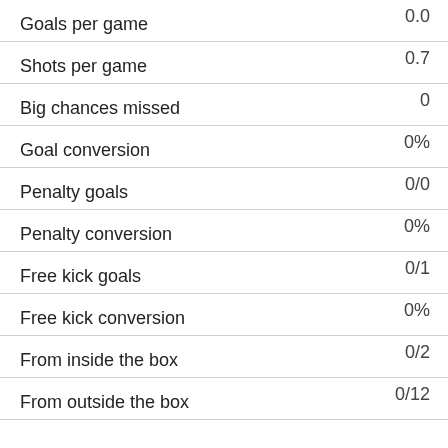| Stat | Value |
| --- | --- |
| Goals per game | 0.0 |
| Shots per game | 0.7 |
| Big chances missed | 0 |
| Goal conversion | 0% |
| Penalty goals | 0/0 |
| Penalty conversion | 0% |
| Free kick goals | 0/1 |
| Free kick conversion | 0% |
| From inside the box | 0/2 |
| From outside the box | 0/12 |